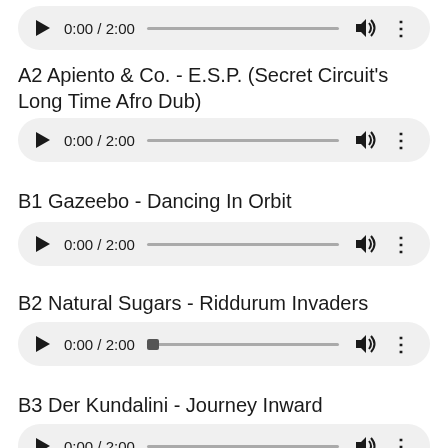[Figure (screenshot): Audio player widget showing 0:00 / 2:00 with play button, progress bar, volume icon, and menu dots]
A2 Apiento & Co. - E.S.P. (Secret Circuit's Long Time Afro Dub)
[Figure (screenshot): Audio player widget showing 0:00 / 2:00 with play button, progress bar, volume icon, and menu dots]
B1 Gazeebo - Dancing In Orbit
[Figure (screenshot): Audio player widget showing 0:00 / 2:00 with play button, progress bar, volume icon, and menu dots]
B2 Natural Sugars - Riddurum Invaders
[Figure (screenshot): Audio player widget showing 0:00 / 2:00 with play button, progress bar (with thumb), volume icon, and menu dots]
B3 Der Kundalini - Journey Inward
[Figure (screenshot): Audio player widget (partially visible at bottom)]